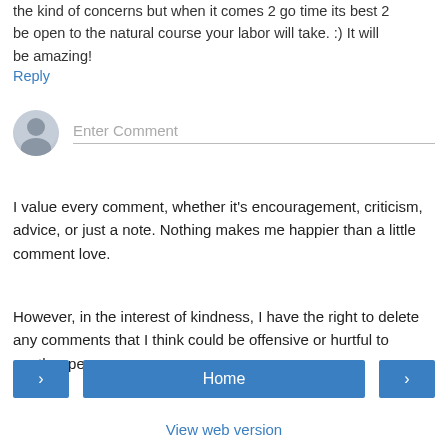the kind of concerns but when it comes 2 go time its best 2 be open to the natural course your labor will take. :) It will be amazing!
Reply
[Figure (other): Comment input area with a default avatar icon and 'Enter Comment' placeholder text with a bottom border underline]
I value every comment, whether it's encouragement, criticism, advice, or just a note. Nothing makes me happier than a little comment love.
However, in the interest of kindness, I have the right to delete any comments that I think could be offensive or hurtful to another person.
< Home >
View web version